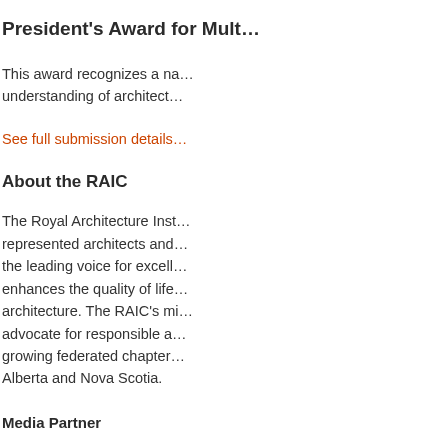President's Award for Mult…
This award recognizes a na… understanding of architect…
See full submission details…
About the RAIC
The Royal Architecture Inst… represented architects and… the leading voice for excell… enhances the quality of life… architecture. The RAIC's mi… advocate for responsible a… growing federated chapter… Alberta and Nova Scotia.
Media Partner
[Figure (logo): v2com logo in large bold black text]